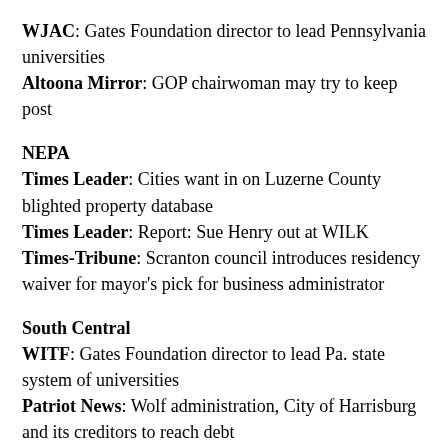WJAC: Gates Foundation director to lead Pennsylvania universities
Altoona Mirror: GOP chairwoman may try to keep post
NEPA
Times Leader: Cities want in on Luzerne County blighted property database
Times Leader: Report: Sue Henry out at WILK
Times-Tribune: Scranton council introduces residency waiver for mayor's pick for business administrator
South Central
WITF: Gates Foundation director to lead Pa. state system of universities
Patriot News: Wolf administration, City of Harrisburg...